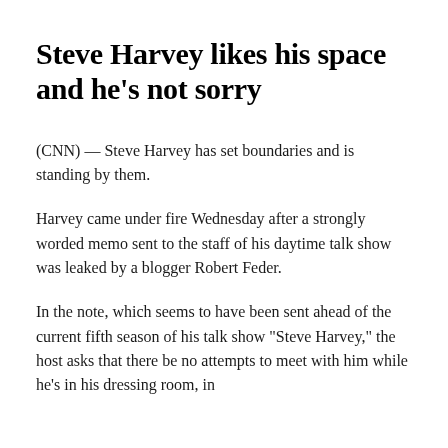Steve Harvey likes his space and he's not sorry
(CNN) — Steve Harvey has set boundaries and is standing by them.
Harvey came under fire Wednesday after a strongly worded memo sent to the staff of his daytime talk show was leaked by a blogger Robert Feder.
In the note, which seems to have been sent ahead of the current fifth season of his talk show “Steve Harvey,” the host asks that there be no attempts to meet with him while he’s in his dressing room, in